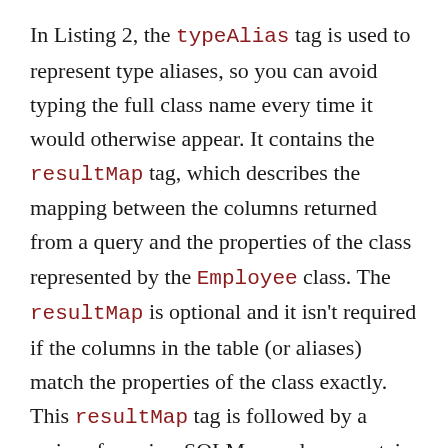In Listing 2, the typeAlias tag is used to represent type aliases, so you can avoid typing the full class name every time it would otherwise appear. It contains the resultMap tag, which describes the mapping between the columns returned from a query and the properties of the class represented by the Employee class. The resultMap is optional and it isn't required if the columns in the table (or aliases) match the properties of the class exactly. This resultMap tag is followed by a series of queries. SQLMap.xml can contain any number of queries. All the select, insert, update, and delete statements are written within their respective tags. Every statement is named using the id